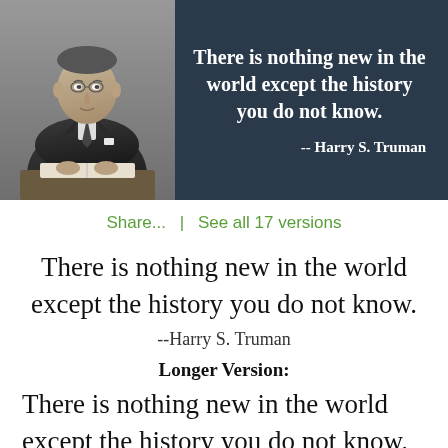[Figure (photo): Black and white photograph of Harry S. Truman in a suit, seated at a desk with an open book, on a dark navy background with a quote in white bold text: 'There is nothing new in the world except the history you do not know.' attributed to '-- Harry S. Truman']
Share...  |  See all 17 versions
There is nothing new in the world except the history you do not know.
--Harry S. Truman
Longer Version:
There is nothing new in the world except the history you do not know. Harry S.